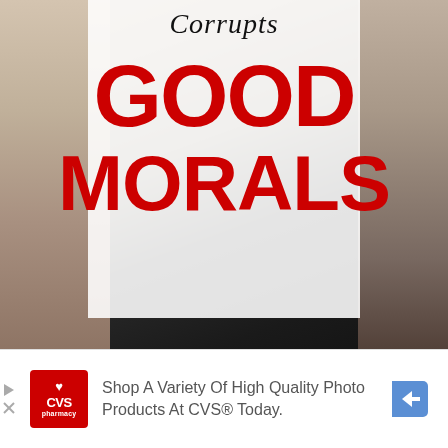[Figure (photo): Background photo of a person holding a sign, with muted warm and dark tones. A white semi-transparent card overlay shows italic text 'Corrupts' and large bold red text 'GOOD MORALS'.]
Corrupts
GOOD MORALS
[Figure (infographic): CVS Pharmacy advertisement banner with CVS logo, text reading 'Shop A Variety Of High Quality Photo Products At CVS® Today.' and a blue direction arrow icon.]